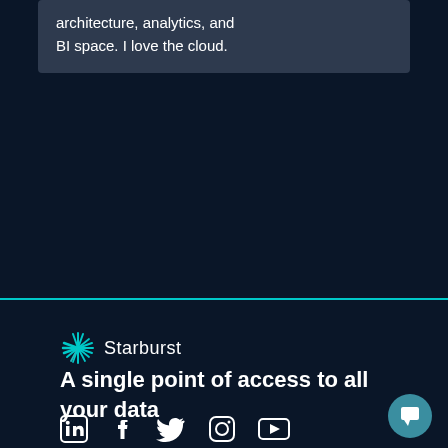architecture, analytics, and BI space. I love the cloud.
[Figure (logo): Starburst logo with starburst icon and wordmark 'Starburst']
A single point of access to all your data
[Figure (illustration): Social media icons: LinkedIn, Facebook, Twitter, Instagram, YouTube]
[Figure (illustration): Teal circular chat bubble button in bottom right corner]